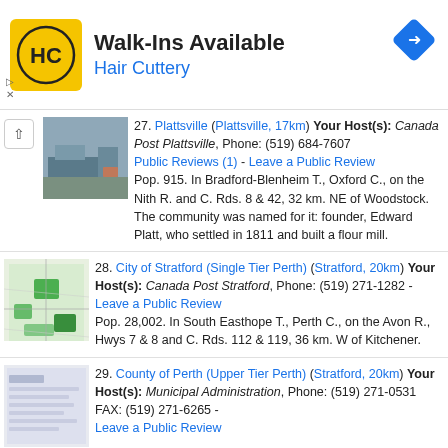[Figure (advertisement): Hair Cuttery advertisement banner with yellow logo and Walk-Ins Available text]
27. Plattsville (Plattsville, 17km) Your Host(s): Canada Post Plattsville, Phone: (519) 684-7607 Public Reviews (1) - Leave a Public Review
Pop. 915. In Bradford-Blenheim T., Oxford C., on the Nith R. and C. Rds. 8 & 42, 32 km. NE of Woodstock. The community was named for it: founder, Edward Platt, who settled in 1811 and built a flour mill.
28. City of Stratford (Single Tier Perth) (Stratford, 20km) Your Host(s): Canada Post Stratford, Phone: (519) 271-1282 - Leave a Public Review
Pop. 28,002. In South Easthope T., Perth C., on the Avon R., Hwys 7 & 8 and C. Rds. 112 & 119, 36 km. W of Kitchener.
29. County of Perth (Upper Tier Perth) (Stratford, 20km) Your Host(s): Municipal Administration, Phone: (519) 271-0531 FAX: (519) 271-6265 - Leave a Public Review